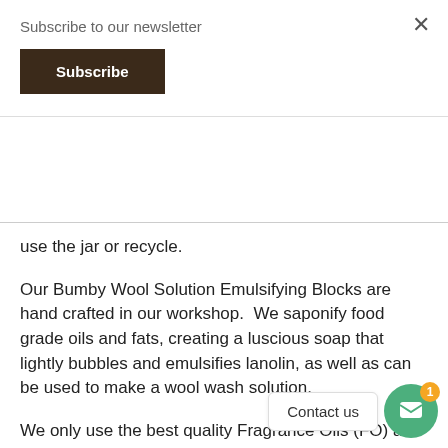Subscribe to our newsletter
Subscribe
use the jar or recycle.
Our Bumby Wool Solution Emulsifying Blocks are hand crafted in our workshop.  We saponify food grade oils and fats, creating a luscious soap that lightly bubbles and emulsifies lanolin, as well as can be used to make a wool wash solution.
We only use the best quality Fragrance Oils (FO) and Essential Oils (EO) in our products.   Many customers really like yummy smells, so we ha launched scented fragrance o... le note that these oils do change the colour of the
Contact us